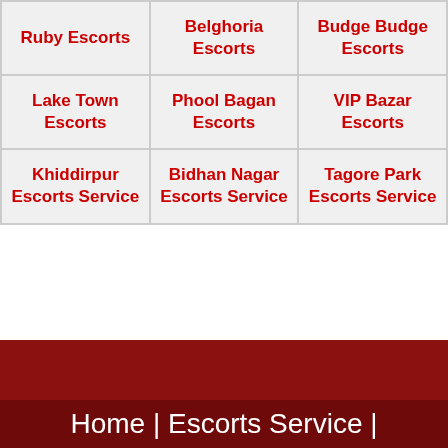| Ruby Escorts | Belghoria Escorts | Budge Budge Escorts |
| Lake Town Escorts | Phool Bagan Escorts | VIP Bazar Escorts |
| Khiddirpur Escorts Service | Bidhan Nagar Escorts Service | Tagore Park Escorts Service |
Home | Escorts Service |